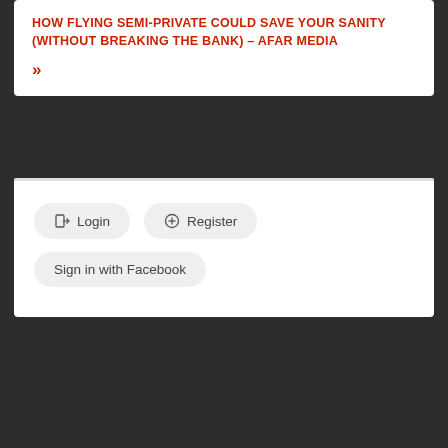HOW FLYING SEMI-PRIVATE COULD SAVE YOUR SANITY (WITHOUT BREAKING THE BANK) – AFAR MEDIA
»
[Figure (screenshot): Login panel with Login button, Register button, and Sign in with Facebook button on a white card background]